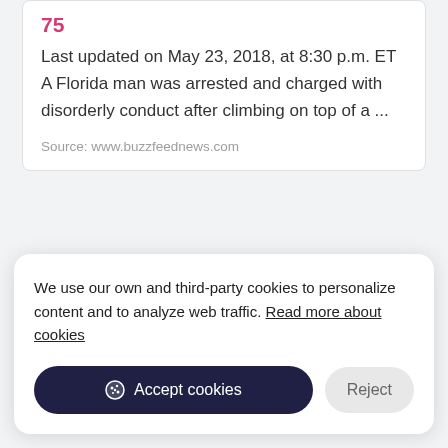Last updated on May 23, 2018, at 8:30 p.m. ET A Florida man was arrested and charged with disorderly conduct after climbing on top of a ...
Source: www.buzzfeednews.com
We use our own and third-party cookies to personalize content and to analyze web traffic. Read more about cookies
Accept cookies
Reject